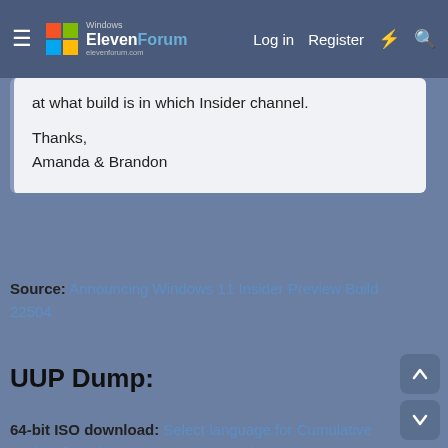ElevenForum — Log in | Register
at what build is in which Insider channel.

Thanks,
Amanda & Brandon
Source: Announcing Windows 11 Insider Preview Build 22504
UUP Dump:
64-bit ISO download: Select language for Cumulative Update for Windows 11 Insider Preview (10.0.22504.1010) amd64